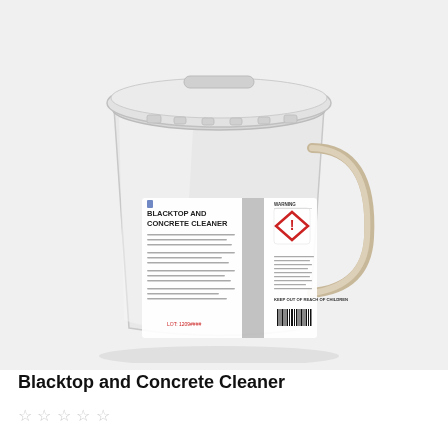[Figure (photo): A white plastic bucket/pail with lid and handle, labeled 'BLACKTOP AND CONCRETE CLEANER' with a GHS hazard warning diamond symbol and barcode on the label.]
Blacktop and Concrete Cleaner
☆ ☆ ☆ ☆ ☆